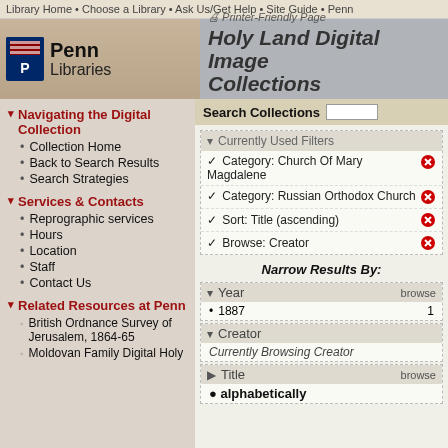Library Home • Choose a Library • Ask Us/Get Help • Site Guide • Penn
[Figure (logo): Penn Libraries logo with shield]
Holy Land Digital Image Collections
Search Collections
Navigating the Digital Collection
Collection Home
Back to Search Results
Search Strategies
Services & Contacts
Reprographic services
Hours
Location
Staff
Contact Us
Related Resources at Penn
British Ordnance Survey of Jerusalem, 1864-65
Moldovan Family Digital Holy
Currently Used Filters
✓ Category: Church Of Mary Magdalene
✓ Category: Russian Orthodox Church
✓ Sort: Title (ascending)
✓ Browse: Creator
Narrow Results By:
Year  browse
1887  1
Creator
Currently Browsing Creator
Title  browse
alphabetically